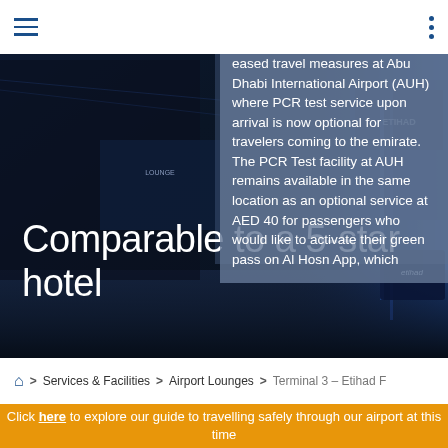Navigation bar with hamburger menu, Abu Dhabi Airport logo, and dots menu
eased travel measures at Abu Dhabi International Airport (AUH) where PCR test service upon arrival is now optional for travelers coming to the emirate. The PCR Test facility at AUH remains available in the same location as an optional service at AED 40 for passengers who would like to activate their green pass on Al Hosn App, which
[Figure (photo): Abu Dhabi Airport interior showing Etihad First Lounge area with blue lighting, lounge seating, and a person walking through the space]
Comparable to a 5-star hotel
Home > Services & Facilities > Airport Lounges > Terminal 3 – Etihad F
Click here to explore our guide to travelling safely through our airport at this time